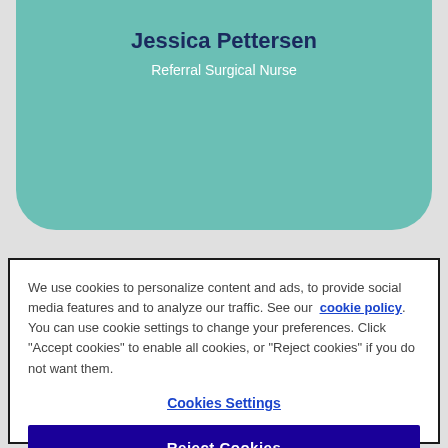Jessica Pettersen
Referral Surgical Nurse
We use cookies to personalize content and ads, to provide social media features and to analyze our traffic. See our cookie policy. You can use cookie settings to change your preferences. Click "Accept cookies" to enable all cookies, or "Reject cookies" if you do not want them.
Cookies Settings
Reject Cookies
Accept Cookies